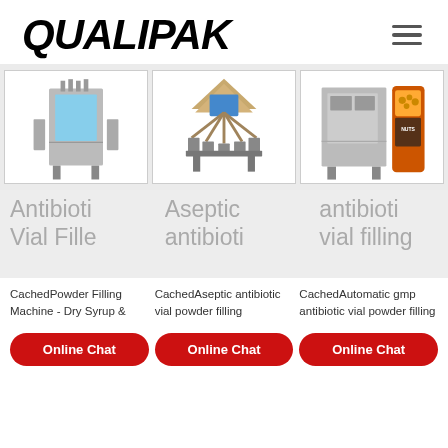QUALIPAK
[Figure (photo): Three industrial packaging/filling machines shown side by side]
Antibioti Vial Fille | Aseptic antibioti antibiotic vial filling
CachedPowder Filling Machine - Dry Syrup &
CachedAseptic antibiotic vial powder filling
CachedAutomatic gmp antibiotic vial powder filling
Online Chat
Online Chat
Online Chat